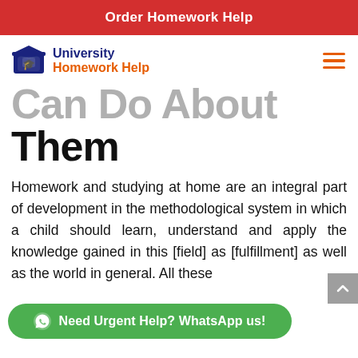Order Homework Help
[Figure (logo): University Homework Help logo with graduation cap icon, blue and orange text]
Can Do About Them
Homework and studying at home are an integral part of development in the methodological system in which a child should learn, understand and apply the knowledge gained in this [field] as [fulfillment] as well as the world in general. All these